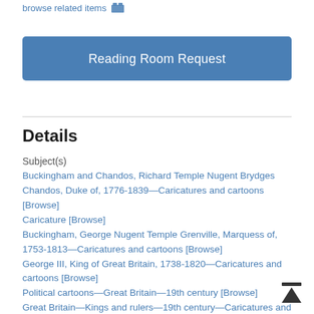browse related items
Reading Room Request
Details
Subject(s)
Buckingham and Chandos, Richard Temple Nugent Brydges Chandos, Duke of, 1776-1839—Caricatures and cartoons [Browse]
Caricature [Browse]
Buckingham, George Nugent Temple Grenville, Marquess of, 1753-1813—Caricatures and cartoons [Browse]
George III, King of Great Britain, 1738-1820—Caricatures and cartoons [Browse]
Political cartoons—Great Britain—19th century [Browse]
Great Britain—Kings and rulers—19th century—Caricatures and